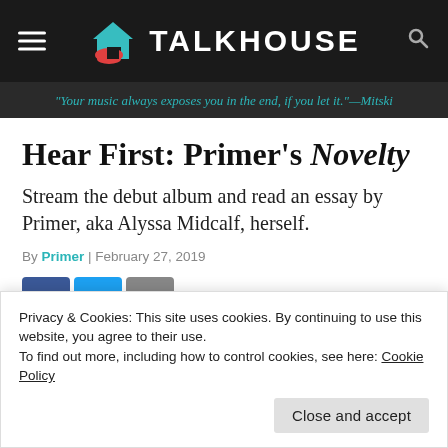TALKHOUSE
"Your music always exposes you in the end, if you let it."—Mitski
Hear First: Primer's Novelty
Stream the debut album and read an essay by Primer, aka Alyssa Midcalf, herself.
By Primer | February 27, 2019
Privacy & Cookies: This site uses cookies. By continuing to use this website, you agree to their use.
To find out more, including how to control cookies, see here: Cookie Policy